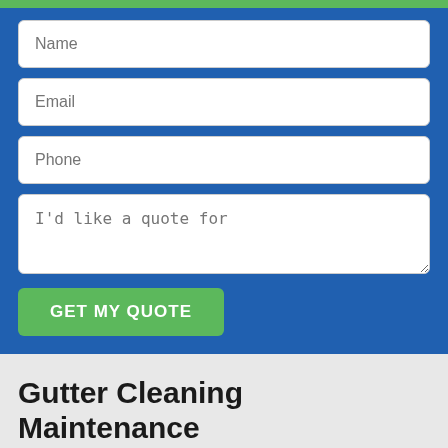[Figure (screenshot): Web form with fields for Name, Email, Phone, and a textarea for quote request, on a blue background with a green GET MY QUOTE button]
Gutter Cleaning Maintenance Program
Choose a Plan that Works Best for You!
There is nothing worse than watching your